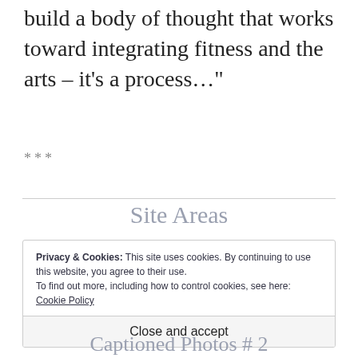build a body of thought that works toward integrating fitness and the arts – it's a process…"
***
Site Areas
Privacy & Cookies: This site uses cookies. By continuing to use this website, you agree to their use.
To find out more, including how to control cookies, see here: Cookie Policy
Close and accept
Captioned Photos # 2